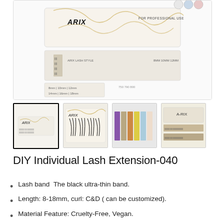[Figure (photo): Main product image showing ARIX DIY Individual Lash Extension product box with gold floral design on white background, labeled FOR PROFESSIONAL USE. Below shows lash strips in tray.]
[Figure (photo): Thumbnail 1 (selected): ARIX lash extension box product shot from front]
[Figure (photo): Thumbnail 2: Close-up of individual lash clusters in ARIX gold-decorated tray]
[Figure (photo): Thumbnail 3: Multiple colored lash extension strips lined up side by side]
[Figure (photo): Thumbnail 4: ARIX branded product showing brown/natural lash rows]
DIY Individual Lash Extension-040
Lash band  The black ultra-thin band.
Length: 8-18mm, curl: C&D ( can be customized).
Material Feature: Cruelty-Free, Vegan.
More customization options with place an order it...